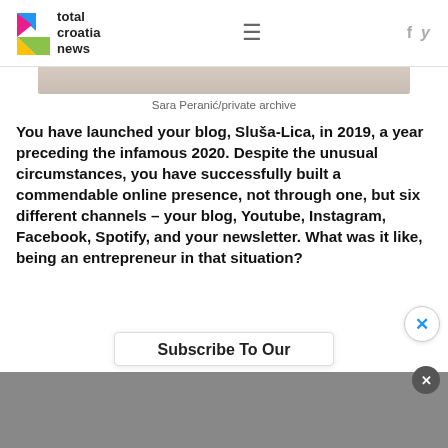total croatia news
[Figure (photo): Partial view of a photo, showing a light brownish-beige background, cut off at top]
Sara Peranić/private archive
You have launched your blog, Sluša-Lica, in 2019, a year preceding the infamous 2020. Despite the unusual circumstances, you have successfully built a commendable online presence, not through one, but six different channels – your blog, Youtube, Instagram, Facebook, Spotify, and your newsletter. What was it like, being an entrepreneur in that situation?
Subscribe To Our